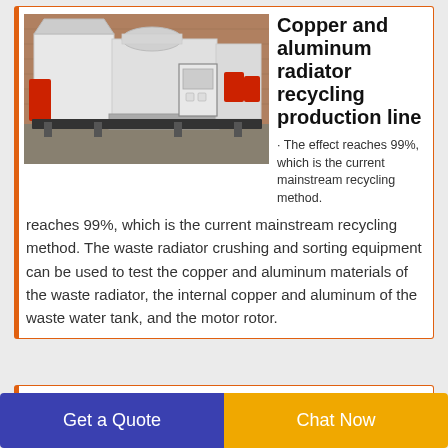[Figure (photo): Industrial copper and aluminum radiator recycling production line machine, white equipment with red containers, outdoors on concrete]
Copper and aluminum radiator recycling production line
· The effect reaches 99%, which is the current mainstream recycling method. The waste radiator crushing and sorting equipment can be used to test the copper and aluminum materials of the waste radiator, the internal copper and aluminum of the waste water tank, and the motor rotor.
[Figure (photo): Large industrial facility with metal roof structure, China Large Capacity Waste recycling equipment]
China Large Capacity Waste
Get a Quote
Chat Now